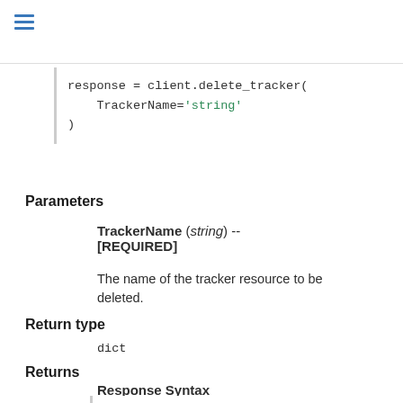response = client.delete_tracker(
    TrackerName='string'
)
Parameters
TrackerName (string) -- [REQUIRED]
The name of the tracker resource to be deleted.
Return type
dict
Returns
Response Syntax
{}